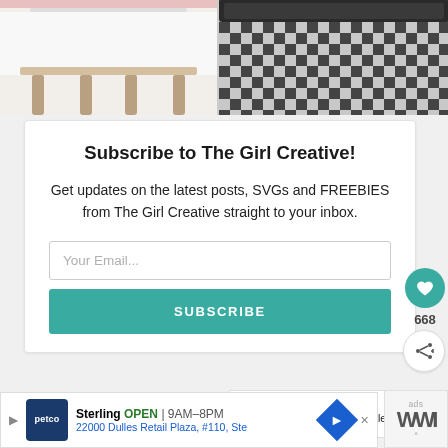[Figure (photo): Two photos side by side: left shows a wooden bench/table with Christmas decorations; right shows a black and white buffalo plaid/checkered rug or blanket]
Subscribe to The Girl Creative!
Get updates on the latest posts, SVGs and FREEBIES from The Girl Creative straight to your inbox.
Your Email...
SUBSCRIBE
668
WHAT'S NEXT → 12 Christmas Printables fo...
Sterling OPEN | 9AM–8PM 22000 Dulles Retail Plaza, #110, Ste